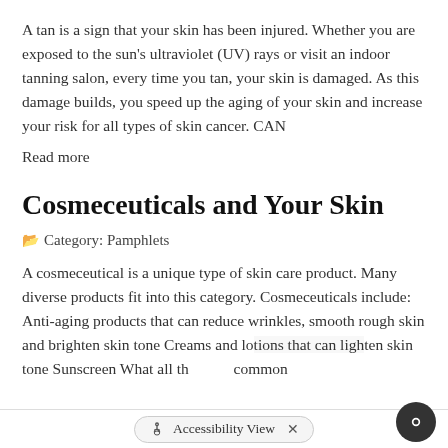A tan is a sign that your skin has been injured. Whether you are exposed to the sun's ultraviolet (UV) rays or visit an indoor tanning salon, every time you tan, your skin is damaged. As this damage builds, you speed up the aging of your skin and increase your risk for all types of skin cancer. CAN
Read more
Cosmeceuticals and Your Skin
Category: Pamphlets
A cosmeceutical is a unique type of skin care product. Many diverse products fit into this category. Cosmeceuticals include: Anti-aging products that can reduce wrinkles, smooth rough skin and brighten skin tone Creams and lotions that can lighten skin tone Sunscreen What all th... common